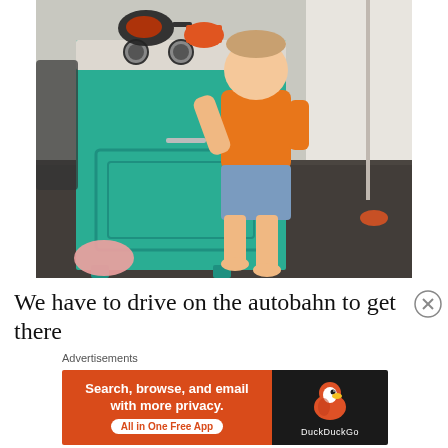[Figure (photo): A toddler in an orange shirt and denim shorts standing at a teal/turquoise play kitchen, reaching up to the stovetop where a black frying pan and orange pot with toy food are placed. The floor is a dark grey carpet. Toy items are scattered on the floor.]
We have to drive on the autobahn to get there
Advertisements
[Figure (infographic): DuckDuckGo advertisement banner. Left side is orange with text: 'Search, browse, and email with more privacy. All in One Free App'. Right side is dark/black with the DuckDuckGo duck logo and text 'DuckDuckGo'.]